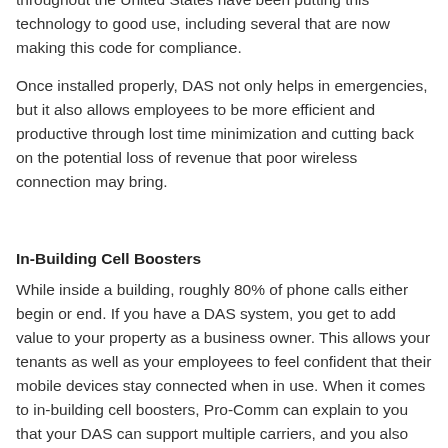throughout the United States have been putting this technology to good use, including several that are now making this code for compliance.
Once installed properly, DAS not only helps in emergencies, but it also allows employees to be more efficient and productive through lost time minimization and cutting back on the potential loss of revenue that poor wireless connection may bring.
In-Building Cell Boosters
While inside a building, roughly 80% of phone calls either begin or end. If you have a DAS system, you get to add value to your property as a business owner. This allows your tenants as well as your employees to feel confident that their mobile devices stay connected when in use. When it comes to in-building cell boosters, Pro-Comm can explain to you that your DAS can support multiple carriers, and you also can prolong the battery